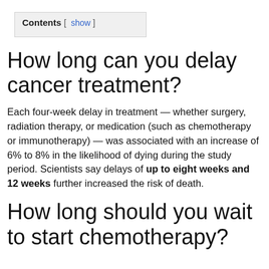Contents [ show ]
How long can you delay cancer treatment?
Each four-week delay in treatment — whether surgery, radiation therapy, or medication (such as chemotherapy or immunotherapy) — was associated with an increase of 6% to 8% in the likelihood of dying during the study period. Scientists say delays of up to eight weeks and 12 weeks further increased the risk of death.
How long should you wait to start chemotherapy?